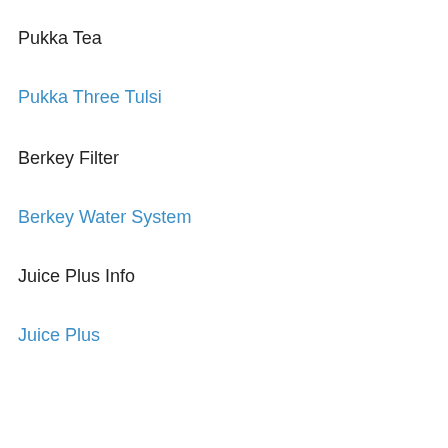Pukka Tea
Pukka Three Tulsi
Berkey Filter
Berkey Water System
Juice Plus Info
Juice Plus